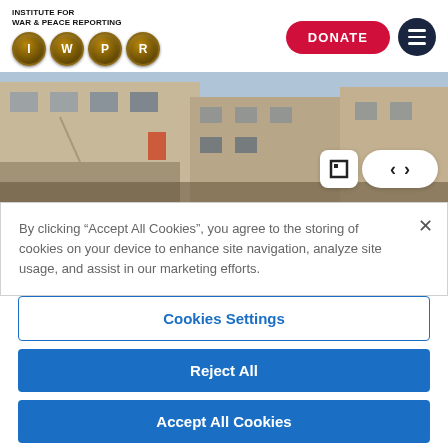[Figure (logo): IWPR logo with text 'Institute for War & Peace Reporting' and four gold coin circles with letters I, W, P, R]
DONATE
[Figure (photo): Photo of a damaged apartment building with broken windows and visible war damage]
By clicking “Accept All Cookies”, you agree to the storing of cookies on your device to enhance site navigation, analyze site usage, and assist in our marketing efforts.
Cookies Settings
Reject All
Accept All Cookies